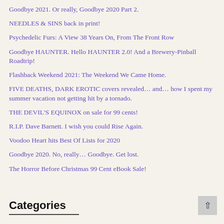Goodbye 2021. Or really, Goodbye 2020 Part 2.
NEEDLES & SINS back in print!
Psychedelic Furs: A View 38 Years On, From The Front Row
Goodbye HAUNTER. Hello HAUNTER 2.0! And a Brewery-Pinball Roadtrip!
Flashback Weekend 2021: The Weekend We Came Home.
FIVE DEATHS, DARK EROTIC covers revealed… and… how I spent my summer vacation not getting hit by a tornado.
THE DEVIL'S EQUINOX on sale for 99 cents!
R.I.P. Dave Barnett. I wish you could Rise Again.
Voodoo Heart hits Best Of Lists for 2020
Goodbye 2020. No, really… Goodbye. Get lost.
The Horror Before Christmas 99 Cent eBook Sale!
Categories